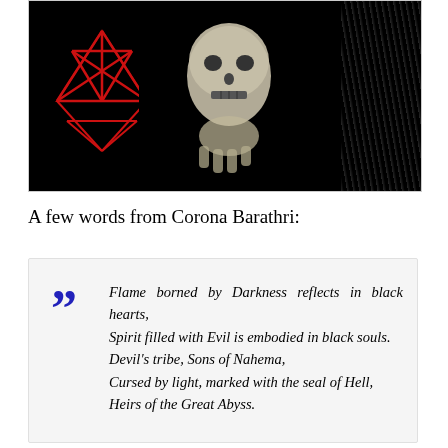[Figure (photo): Black and white photo showing a skull being held, with a red inverted pentagram star on the left side and white fibrous texture on the right, against a black background.]
A few words from Corona Barathri:
Flame borned by Darkness reflects in black hearts,
Spirit filled with Evil is embodied in black souls.
Devil's tribe, Sons of Nahema,
Cursed by light, marked with the seal of Hell,
Heirs of the Great Abyss.